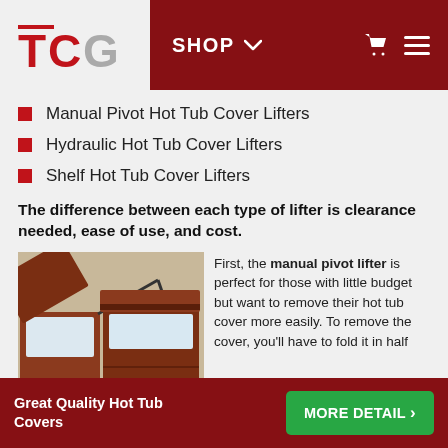TCG | SHOP
Manual Pivot Hot Tub Cover Lifters
Hydraulic Hot Tub Cover Lifters
Shelf Hot Tub Cover Lifters
The difference between each type of lifter is clearance needed, ease of use, and cost.
[Figure (photo): Hot tub with a manual pivot cover lifter mechanism raising the brown cover off the tub]
First, the manual pivot lifter is perfect for those with little budget but want to remove their hot tub cover more easily. To remove the cover, you'll have to fold it in half
Great Quality Hot Tub Covers | MORE DETAILS